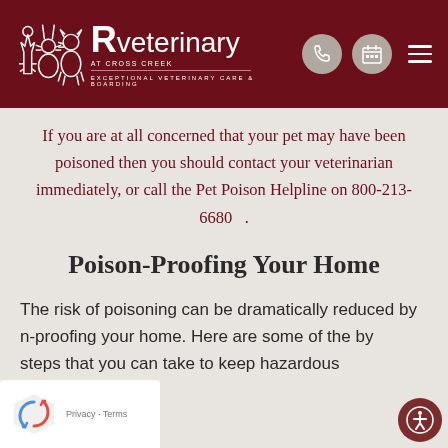R Veterinary — EXCEPTIONAL VETERINARY CARE & BOARDING
If you are at all concerned that your pet may have been poisoned then you should contact your veterinarian immediately, or call the Pet Poison Helpline on 800-213-6680 .
Poison-Proofing Your Home
The risk of poisoning can be dramatically reduced by n-proofing your home. Here are some of the by steps that you can take to keep hazardous